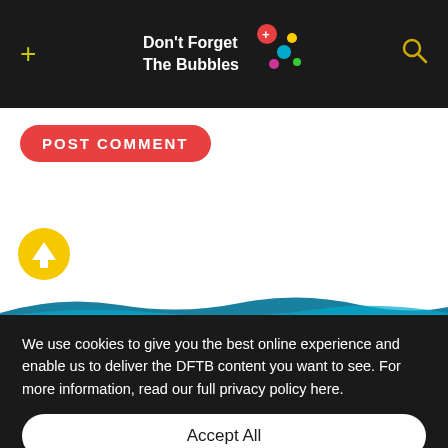Don't Forget The Bubbles
POST COMMENT
[Figure (illustration): Yellow circle with white upward arrow icon]
We use cookies to give you the best online experience and enable us to deliver the DFTB content you want to see. For more information, read our full privacy policy here.
Accept All
Dismiss